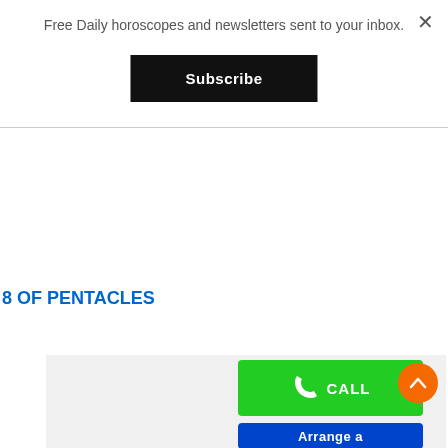Free Daily horoscopes and newsletters sent to your inbox.
Subscribe
8 OF PENTACLES
[Figure (screenshot): Light gray image area at bottom of page showing a call button (green with phone icon and CALL text) and an arrange button (blue) with an orange scroll-to-top button overlaid]
CALL
Arrange a